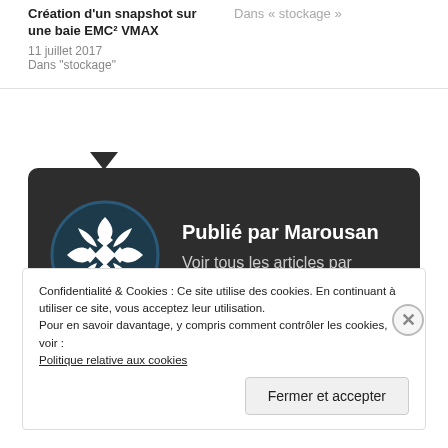Dans « stockage »
Dans « stockage »
Création d'un snapshot sur une baie EMC² VMAX
11 juillet 2017
Dans "stockage"
[Figure (illustration): Dark rounded card showing author avatar (geometric snowflake logo on dark circle) and text 'Publié par Marousan / Voir tous les articles par Marousan']
Confidentialité & Cookies : Ce site utilise des cookies. En continuant à utiliser ce site, vous acceptez leur utilisation.
Pour en savoir davantage, y compris comment contrôler les cookies, voir :
Politique relative aux cookies
Fermer et accepter